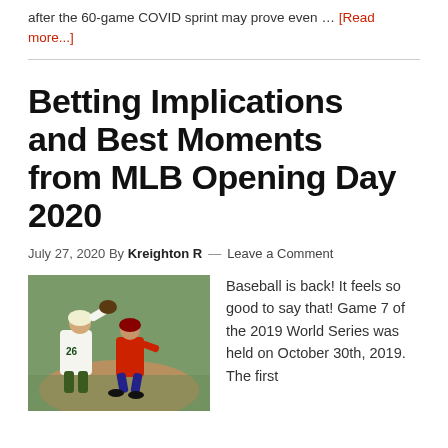after the 60-game COVID sprint may prove even … [Read more...]
Betting Implications and Best Moments from MLB Opening Day 2020
July 27, 2020 By Kreighton R — Leave a Comment
[Figure (photo): Baseball player wearing number 26 jersey in a baseball game action shot]
Baseball is back! It feels so good to say that! Game 7 of the 2019 World Series was held on October 30th, 2019. The first